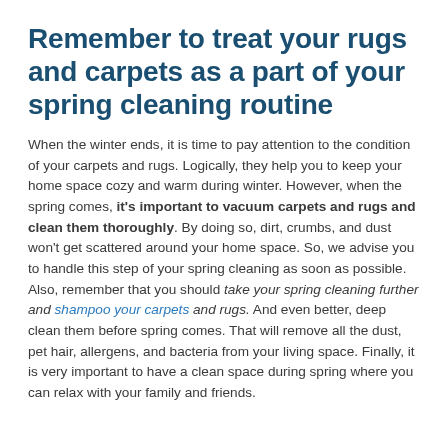Remember to treat your rugs and carpets as a part of your spring cleaning routine
When the winter ends, it is time to pay attention to the condition of your carpets and rugs. Logically, they help you to keep your home space cozy and warm during winter. However, when the spring comes, it's important to vacuum carpets and rugs and clean them thoroughly. By doing so, dirt, crumbs, and dust won't get scattered around your home space. So, we advise you to handle this step of your spring cleaning as soon as possible. Also, remember that you should take your spring cleaning further and shampoo your carpets and rugs. And even better, deep clean them before spring comes. That will remove all the dust, pet hair, allergens, and bacteria from your living space. Finally, it is very important to have a clean space during spring where you can relax with your family and friends.